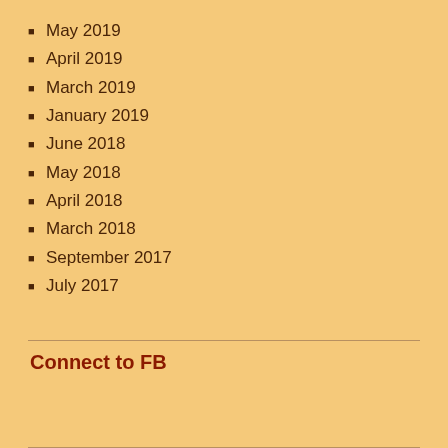May 2019
April 2019
March 2019
January 2019
June 2018
May 2018
April 2018
March 2018
September 2017
July 2017
Connect to FB